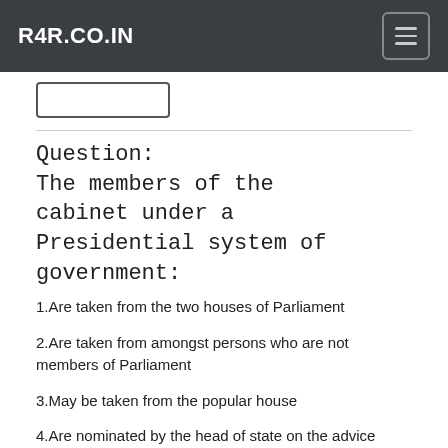R4R.CO.IN
Question:
The members of the cabinet under a Presidential system of government:
1.Are taken from the two houses of Parliament
2.Are taken from amongst persons who are not members of Parliament
3.May be taken from the popular house
4.Are nominated by the head of state on the advice